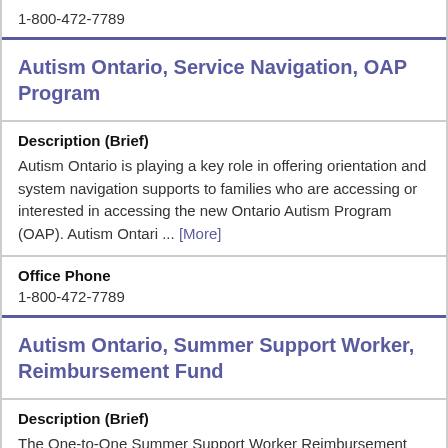1-800-472-7789
Autism Ontario, Service Navigation, OAP Program
Description (Brief)
Autism Ontario is playing a key role in offering orientation and system navigation supports to families who are accessing or interested in accessing the new Ontario Autism Program (OAP). Autism Ontari ... [More]
Office Phone
1-800-472-7789
Autism Ontario, Summer Support Worker, Reimbursement Fund
Description (Brief)
The One-to-One Summer Support Worker Reimbursement Fund is available to Ontario families of children or youth with ASD who